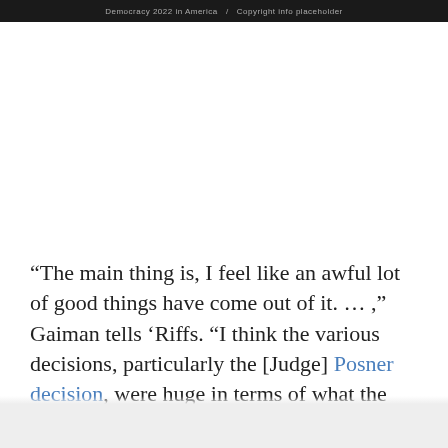Democracy 2022 in America / Copyright info placeholder
“The main thing is, I feel like an awful lot of good things have come out of it. ... ,” Gaiman tells ‘Riffs. “I think the various decisions, particularly the [Judge] Posner decision, were huge in terms of what the nature of dual